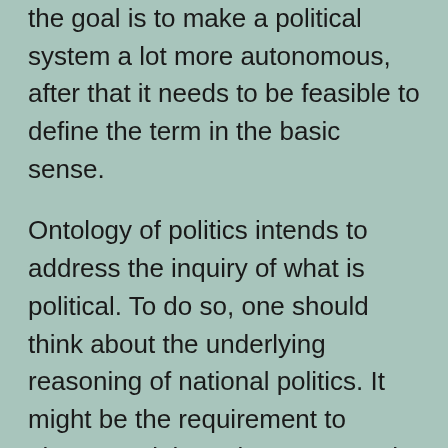the goal is to make a political system a lot more autonomous, after that it needs to be feasible to define the term in the basic sense.
Ontology of politics intends to address the inquiry of what is political. To do so, one should think about the underlying reasoning of national politics. It might be the requirement to please social requirements, such as to be a good citizen. Yet politics is a paradoxical art that mirrors the paradoxical nature of human habits. It is an art of repression and also censorship. Its objective is to attain the highest degree of political authenticity.